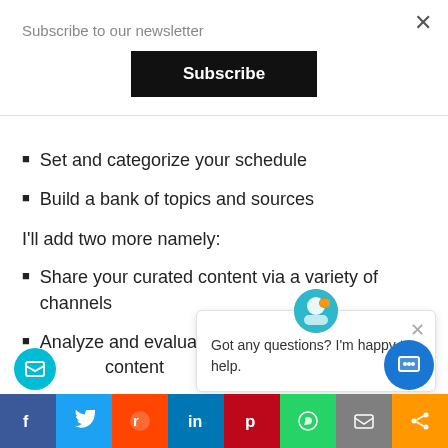Subscribe to our newsletter
Subscribe
Set and categorize your schedule
Build a bank of topics and sources
I'll add two more namely:
Share your curated content via a variety of channels
Analyze and evaluate … content
Regardless, the right st… posts are crappy. So when you create a curated post, here are seven attributes you must watch out for.
Got any questions? I'm happy to help.